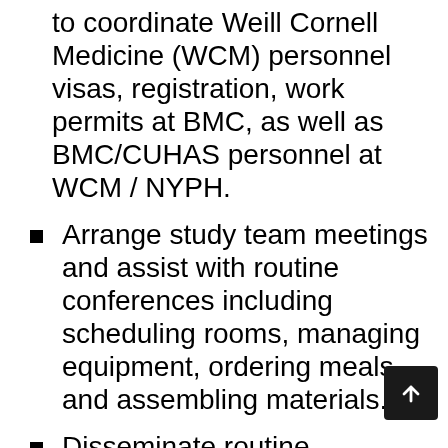to coordinate Weill Cornell Medicine (WCM) personnel visas, registration, work permits at BMC, as well as BMC/CUHAS personnel at WCM / NYPH.
Arrange study team meetings and assist with routine conferences including scheduling rooms, managing equipment, ordering meals, and assembling materials.
Disseminate routine communications such as memos, notices, emails, and letters, perform office duties including, but not limited to, handling of incoming and outgoing mail, entering data into basic tables, reports, or spreadsheets, making copies, and monitoring and ordering of office supplies, as assigned, among other...